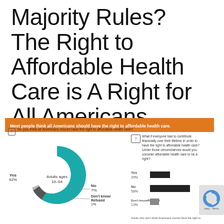Majority Rules? The Right to Affordable Health Care is A Right for All Americans
Most people think all Americans should have the right to affordable health care.
Do you think all Americans should have the right to affordable health care?
[Figure (donut-chart): Do you think all Americans should have the right to affordable health care?]
What if everyone had to contribute financially over their lifetime in order to have the right to affordable health care? Under those circumstances would you consider affordable health care to be a right?
[Figure (bar-chart): ]
Adults who don't think Americans should have the right to affordable health care or responded 'don't know'/'refused' to respond